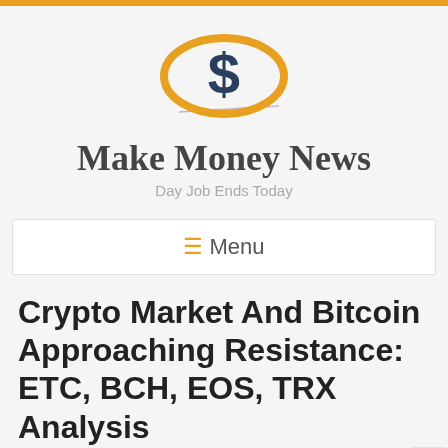[Figure (logo): Make Money News logo: orange ellipse with dark blue dollar sign S in center, with gray diagonal line below]
Make Money News
Day Job Ends Today
≡  Menu
Crypto Market And Bitcoin Approaching Resistance: ETC, BCH, EOS, TRX Analysis
makemoney   Crypto Currency